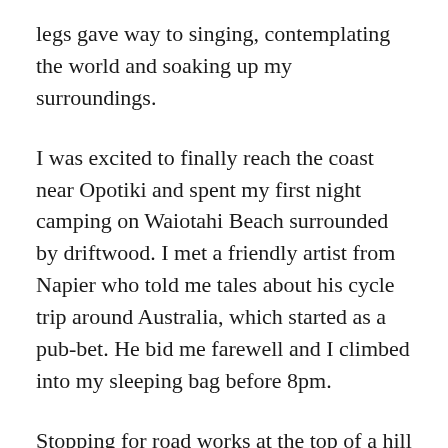legs gave way to singing, contemplating the world and soaking up my surroundings.
I was excited to finally reach the coast near Opotiki and spent my first night camping on Waiotahi Beach surrounded by driftwood. I met a friendly artist from Napier who told me tales about his cycle trip around Australia, which started as a pub-bet. He bid me farewell and I climbed into my sleeping bag before 8pm.
Stopping for road works at the top of a hill on the way around the coast, I was greeted by a bunch of larrikin road workers. “There are more